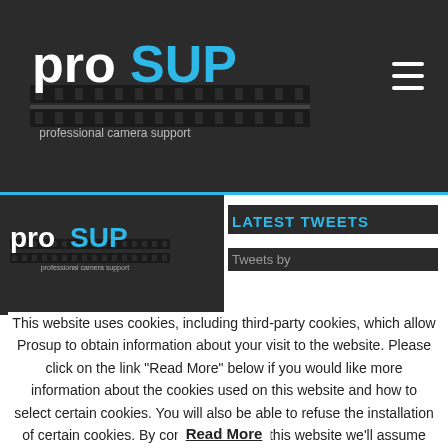[Figure (logo): ProSUP professional camera support logo in white and blue on dark background, navigation bar with hamburger menu]
[Figure (logo): ProSUP professional camera support logo smaller version in sidebar area on dark background]
LATEST TWEETS
Tweets by
This website uses cookies, including third-party cookies, which allow Prosup to obtain information about your visit to the website. Please click on the link "Read More" below if you would like more information about the cookies used on this website and how to select certain cookies. You will also be able to refuse the installation of certain cookies. By continuing to use this website we'll assume you're ok with this, but you can opt-out if you wish.
Read More